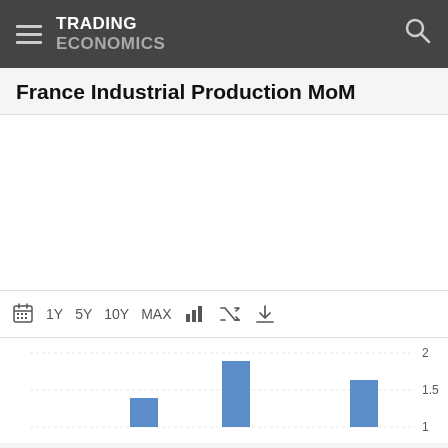TRADING ECONOMICS
France Industrial Production MoM
[Figure (bar-chart): France Industrial Production MoM]